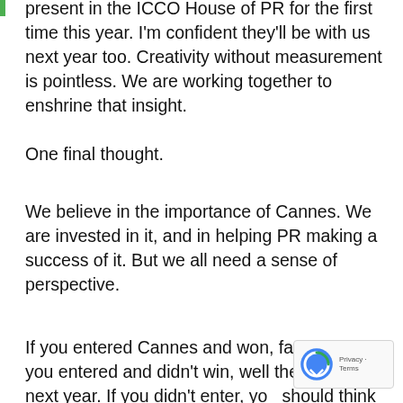present in the ICCO House of PR for the first time this year. I'm confident they'll be with us next year too. Creativity without measurement is pointless. We are working together to enshrine that insight.
One final thought.
We believe in the importance of Cannes. We are invested in it, and in helping PR making a success of it. But we all need a sense of perspective.
If you entered Cannes and won, fantastic. If you entered and didn't win, well there's always next year. If you didn't enter, you should think about doing so. But if it isn't something that fires up your sense of